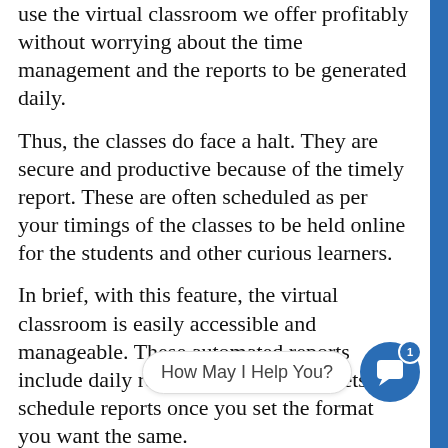use the virtual classroom we offer profitably without worrying about the time management and the reports to be generated daily.
Thus, the classes do face a halt. They are secure and productive because of the timely report. These are often scheduled as per your timings of the classes to be held online for the students and other curious learners.
In brief, with this feature, the virtual classroom is easily accessible and manageable. These automated reports include daily reports, assessment sheets, or schedule reports once you set the format you want the same.
Share unlimited learning material online and go paperless
One of the best features of the virtual learning tool or the updated LMS we offer is that it is